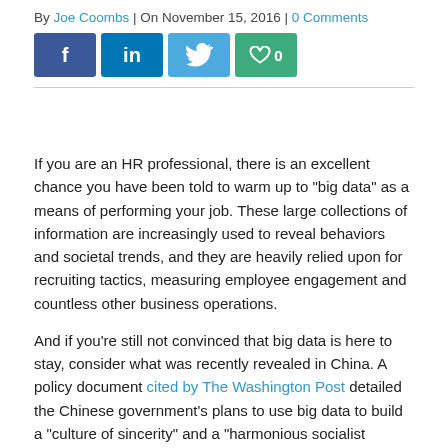By Joe Coombs | On November 15, 2016 | 0 Comments
[Figure (other): Social sharing buttons: Facebook, LinkedIn, Twitter, Like (0)]
If you are an HR professional, there is an excellent chance you have been told to warm up to "big data" as a means of performing your job. These large collections of information are increasingly used to reveal behaviors and societal trends, and they are heavily relied upon for recruiting tactics, measuring employee engagement and countless other business operations.
And if you're still not convinced that big data is here to stay, consider what was recently revealed in China. A policy document cited by The Washington Post detailed the Chinese government's plans to use big data to build a "culture of sincerity" and a "harmonious socialist society." To achieve that, the government would collect any information